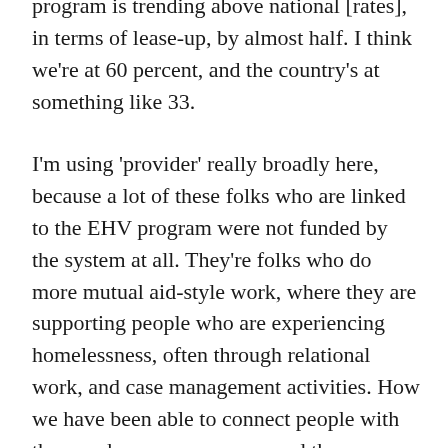program is trending above national [rates], in terms of lease-up, by almost half. I think we're at 60 percent, and the country's at something like 33.
I'm using 'provider' really broadly here, because a lot of these folks who are linked to the EHV program were not funded by the system at all. They're folks who do more mutual aid-style work, where they are supporting people who are experiencing homelessness, often through relational work, and case management activities. How we have been able to connect people with the vouchers as a resource, and then support them through lease-up and then into housing, has really hinged on this idea that if we went to where people have their relationships, and use that as the primary vehicle, we would see